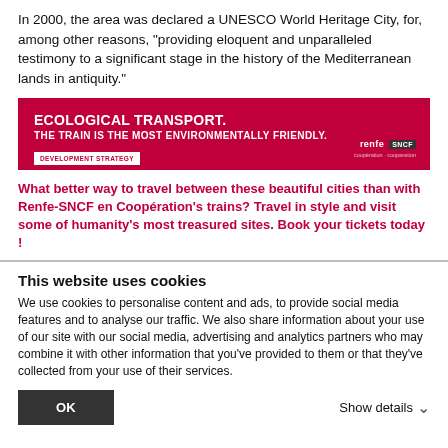In 2000, the area was declared a UNESCO World Heritage City, for, among other reasons, "providing eloquent and unparalleled testimony to a significant stage in the history of the Mediterranean lands in antiquity."
[Figure (infographic): Red banner advertisement for Renfe-SNCF. Text: ECOLOGICAL TRANSPORT. THE TRAIN IS THE MOST ENVIRONMENTALLY FRIENDLY. DEVELOPMENT STRATEGY button. Renfe SNCF logo at bottom right.]
What better way to travel between these beautiful cities than with Renfe-SNCF en Coopération's trains? Travel in style and visit some of humanity's most treasured sites. Book your tickets today !
This website uses cookies
We use cookies to personalise content and ads, to provide social media features and to analyse our traffic. We also share information about your use of our site with our social media, advertising and analytics partners who may combine it with other information that you've provided to them or that they've collected from your use of their services.
OK   Show details